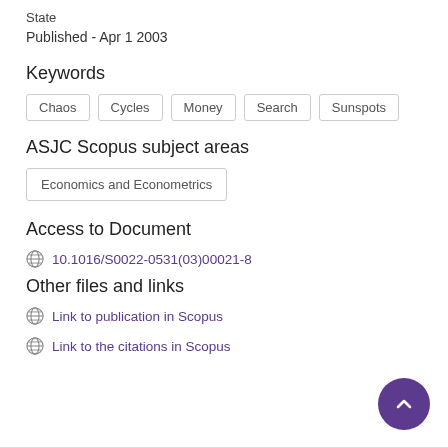State
Published - Apr 1 2003
Keywords
Chaos
Cycles
Money
Search
Sunspots
ASJC Scopus subject areas
Economics and Econometrics
Access to Document
10.1016/S0022-0531(03)00021-8
Other files and links
Link to publication in Scopus
Link to the citations in Scopus